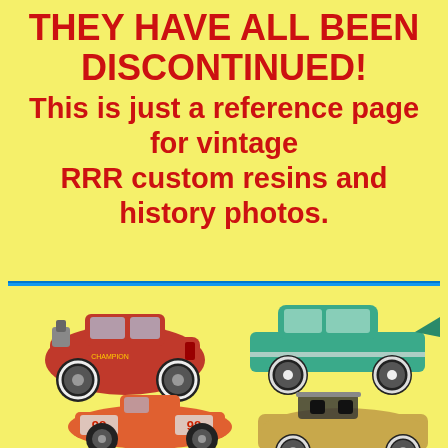THEY HAVE ALL BEEN DISCONTINUED! This is just a reference page for vintage RRR custom resins and history photos.
[Figure (photo): Four vintage toy/model cars on yellow background: red hot rod, teal 1957 Chevy, orange #98 race car, and gold convertible sports car.]